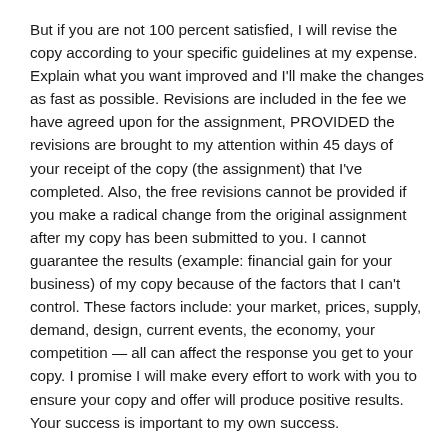But if you are not 100 percent satisfied, I will revise the copy according to your specific guidelines at my expense. Explain what you want improved and I'll make the changes as fast as possible. Revisions are included in the fee we have agreed upon for the assignment, PROVIDED the revisions are brought to my attention within 45 days of your receipt of the copy (the assignment) that I've completed. Also, the free revisions cannot be provided if you make a radical change from the original assignment after my copy has been submitted to you. I cannot guarantee the results (example: financial gain for your business) of my copy because of the factors that I can't control. These factors include: your market, prices, supply, demand, design, current events, the economy, your competition — all can affect the response you get to your copy. I promise I will make every effort to work with you to ensure your copy and offer will produce positive results. Your success is important to my own success.